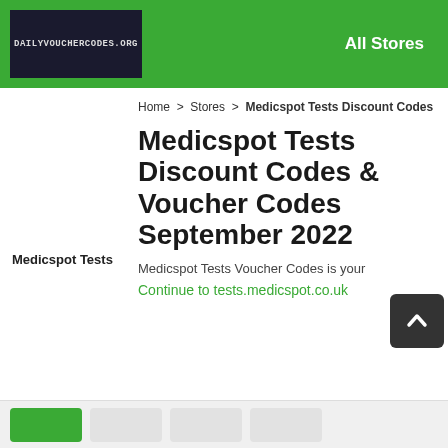DAILYVOUCHERCODES.ORG  All Stores
Home > Stores > Medicspot Tests Discount Codes
Medicspot Tests
Medicspot Tests Discount Codes & Voucher Codes September 2022
Medicspot Tests Voucher Codes is your
Continue to tests.medicspot.co.uk